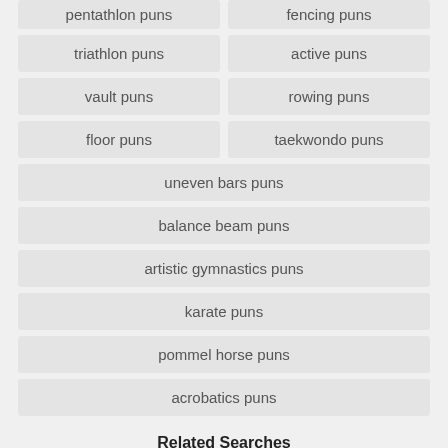pentathlon puns
fencing puns
triathlon puns
active puns
vault puns
rowing puns
floor puns
taekwondo puns
uneven bars puns
balance beam puns
artistic gymnastics puns
karate puns
pommel horse puns
acrobatics puns
Related Searches